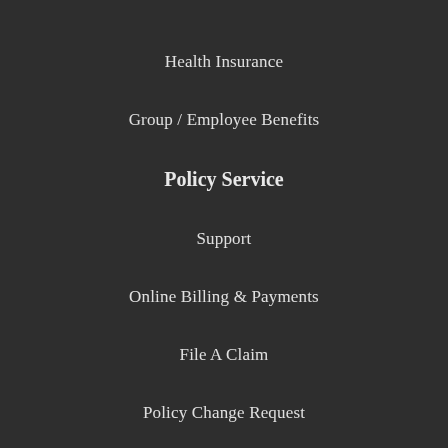Health Insurance
Group / Employee Benefits
Policy Service
Support
Online Billing & Payments
File A Claim
Policy Change Request